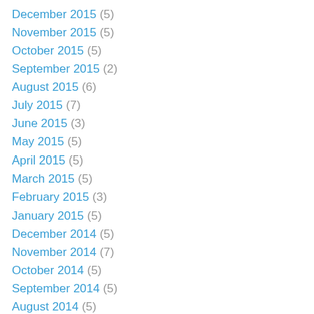December 2015 (5)
November 2015 (5)
October 2015 (5)
September 2015 (2)
August 2015 (6)
July 2015 (7)
June 2015 (3)
May 2015 (5)
April 2015 (5)
March 2015 (5)
February 2015 (3)
January 2015 (5)
December 2014 (5)
November 2014 (7)
October 2014 (5)
September 2014 (5)
August 2014 (5)
July 2014 (8)
June 2014 (5)
May 2014 (5)